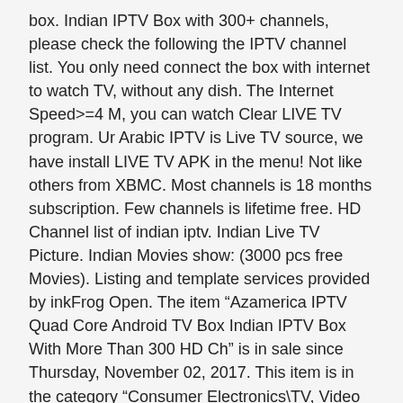box. Indian IPTV Box with 300+ channels, please check the following the IPTV channel list. You only need connect the box with internet to watch TV, without any dish. The Internet Speed>=4 M, you can watch Clear LIVE TV program. Ur Arabic IPTV is Live TV source, we have install LIVE TV APK in the menu! Not like others from XBMC. Most channels is 18 months subscription. Few channels is lifetime free. HD Channel list of indian iptv. Indian Live TV Picture. Indian Movies show: (3000 pcs free Movies). Listing and template services provided by inkFrog Open. The item “Azamerica IPTV Quad Core Android TV Box Indian IPTV Box With More Than 300 HD Ch” is in sale since Thursday, November 02, 2017. This item is in the category “Consumer Electronics\TV, Video & Home Audio\Internet & Media Streamers”. The seller is “tamakumo” and is located in Los Angeles, California. This item can be shipped to United States.
Brand: Undisclosed